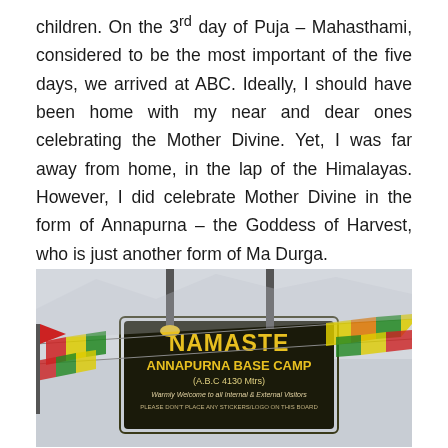children. On the 3rd day of Puja – Mahasthami, considered to be the most important of the five days, we arrived at ABC. Ideally, I should have been home with my near and dear ones celebrating the Mother Divine. Yet, I was far away from home, in the lap of the Himalayas. However, I did celebrate Mother Divine in the form of Annapurna – the Goddess of Harvest, who is just another form of Ma Durga.
[Figure (photo): Sign board reading 'NAMASTE ANNAPURNA BASE CAMP (A.B.C 4130 Mtrs) Warmly Welcome to all Internal & External Visitors' with colorful prayer flags strung on either side against a grey sky.]